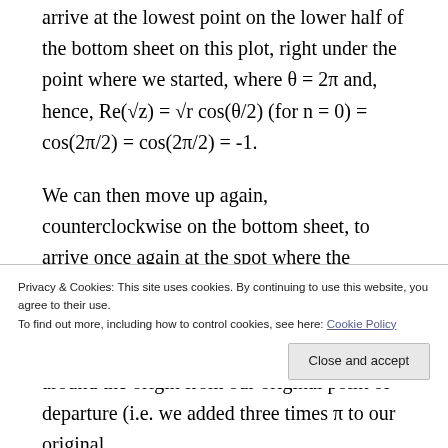arrive at the lowest point on the lower half of the bottom sheet on this plot, right under the point where we started, where θ = 2π and, hence, Re(√z) = √r cos(θ/2) (for n = 0) = cos(2π/2) = cos(2π/2) = -1.
We can then move up again, counterclockwise on the bottom sheet, to arrive once again at the spot where the bottom sheet passes through the top sheet: the value of θ there should be equal to θ = 3π, as we have now made three half turns around the origin from our original point of departure (i.e. we added three times π to our original
Privacy & Cookies: This site uses cookies. By continuing to use this website, you agree to their use.
To find out more, including how to control cookies, see here: Cookie Policy
Close and accept
reached the value of θ = 4π, i.e. zero plus two